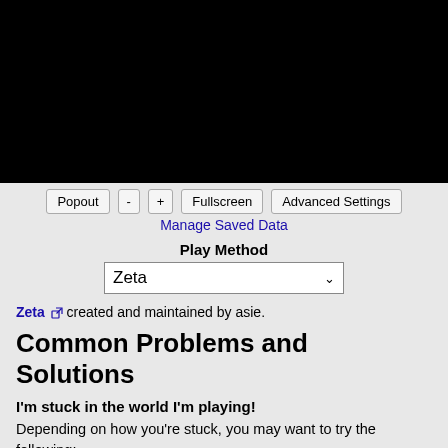[Figure (other): Black video/emulator display area]
Popout  -  +  Fullscreen  Advanced Settings
Manage Saved Data
Play Method
Zeta
Zeta [external link icon] created and maintained by asie.
Common Problems and Solutions
I'm stuck in the world I'm playing!
Depending on how you're stuck, you may want to try the following:
A lack of health or other resources: Press "?" to open the cheat prompt and use the appropriate cheat listed on the ZZT Cheats [external link icon] page.